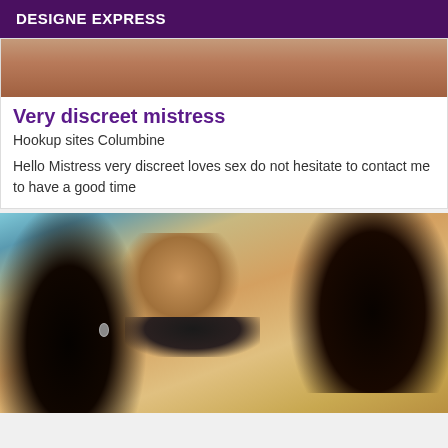DESIGNE EXPRESS
[Figure (photo): Partial top portion of a photo showing skin tones, cropped at top]
Very discreet mistress
Hookup sites Columbine
Hello Mistress very discreet loves sex do not hesitate to contact me to have a good time
[Figure (photo): Woman with long dark black hair lying down, wearing a dark top, looking at camera, against a patterned background]